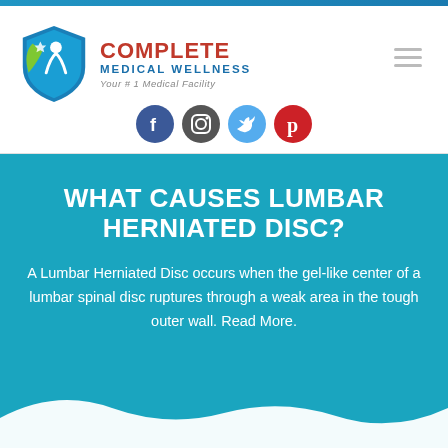[Figure (logo): Complete Medical Wellness logo with shield icon, red COMPLETE text, blue MEDICAL WELLNESS text, tagline Your #1 Medical Facility]
[Figure (other): Social media icons: Facebook, Instagram, Twitter, Pinterest]
WHAT CAUSES LUMBAR HERNIATED DISC?
A Lumbar Herniated Disc occurs when the gel-like center of a lumbar spinal disc ruptures through a weak area in the tough outer wall. Read More.